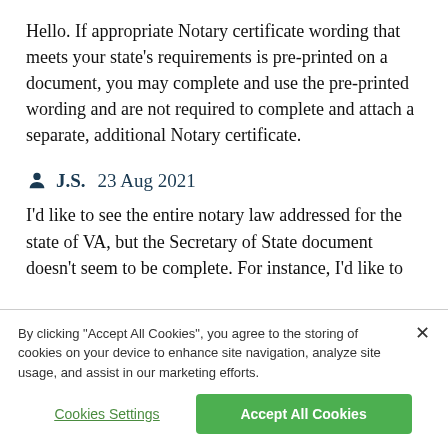Hello. If appropriate Notary certificate wording that meets your state's requirements is pre-printed on a document, you may complete and use the pre-printed wording and are not required to complete and attach a separate, additional Notary certificate.
J.S.  23 Aug 2021
I'd like to see the entire notary law addressed for the state of VA, but the Secretary of State document doesn't seem to be complete. For instance, I'd like to
By clicking "Accept All Cookies", you agree to the storing of cookies on your device to enhance site navigation, analyze site usage, and assist in our marketing efforts.